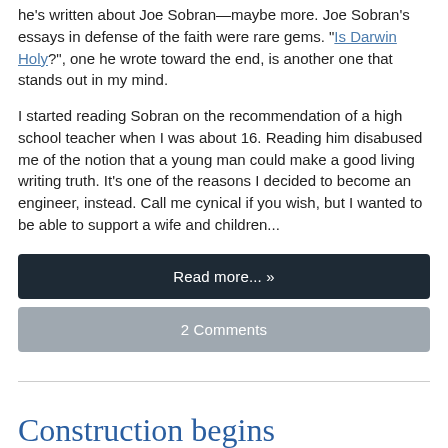he's written about Joe Sobran—maybe more. Joe Sobran's essays in defense of the faith were rare gems. "Is Darwin Holy?", one he wrote toward the end, is another one that stands out in my mind.
I started reading Sobran on the recommendation of a high school teacher when I was about 16. Reading him disabused me of the notion that a young man could make a good living writing truth. It's one of the reasons I decided to become an engineer, instead. Call me cynical if you wish, but I wanted to be able to support a wife and children...
Read more... »
2 Comments
Construction begins